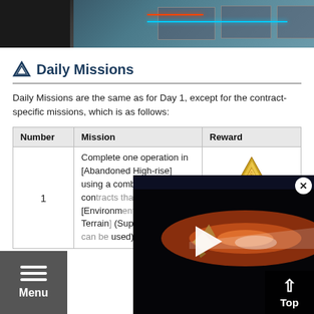[Figure (screenshot): Game screenshot showing a top-down tactical game view with neon outlines and rooftop elements]
Daily Missions
Daily Missions are the same as for Day 1, except for the contract-specific missions, which is as follows:
| Number | Mission | Reward |
| --- | --- | --- |
| 1 | Complete one operation in [Abandoned High-rise] using a combination of contracts that includes [Environmental Precipitous Terrain] 
(Support contracts can be used) | Operation [reward icon] |
[Figure (screenshot): Video player overlay showing a spaceship or debris in space with a play button and Top button]